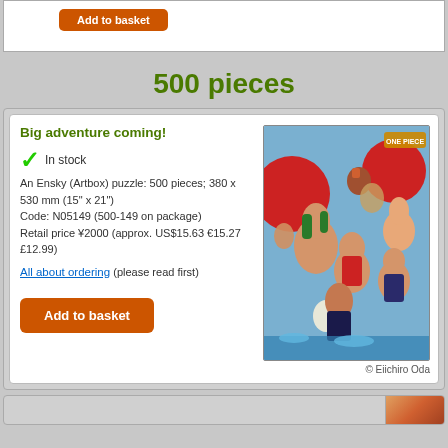[Figure (screenshot): Top partial product card showing an orange 'Add to basket' button]
500 pieces
Big adventure coming!
✔ In stock
An Ensky (Artbox) puzzle: 500 pieces; 380 x 530 mm (15" x 21")
Code: N05149 (500-149 on package)
Retail price ¥2000 (approx. US$15.63 €15.27 £12.99)
All about ordering (please read first)
[Figure (illustration): One Piece manga puzzle image showing anime characters including Luffy, Zoro, Nami, Sanji and others]
© Eiichiro Oda
[Figure (screenshot): Bottom partial product card stub]